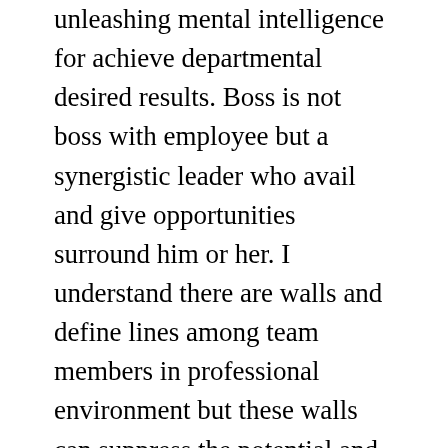unleashing mental intelligence for achieve departmental desired results. Boss is not boss with employee but a synergistic leader who avail and give opportunities surround him or her. I understand there are walls and define lines among team members in professional environment but these walls can suppress the potential and grip the minds to get limited results and slow pace progress , however, opposite is true and can be achieved. At the same time, employee must not work for only standard job description, he or she can work out of the way for growth and enhanced performance of their